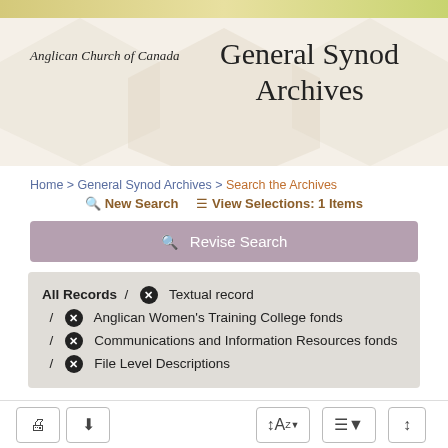Anglican Church of Canada  |  General Synod Archives
Home > General Synod Archives > Search the Archives
New Search   View Selections: 1 Items
Revise Search
All Records / ✕ Textual record / ✕ Anglican Women's Training College fonds / ✕ Communications and Information Resources fonds / ✕ File Level Descriptions